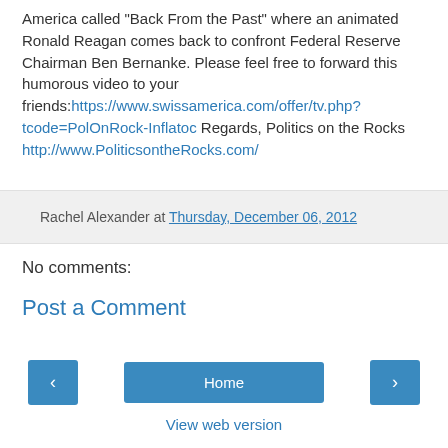America called "Back From the Past" where an animated Ronald Reagan comes back to confront Federal Reserve Chairman Ben Bernanke. Please feel free to forward this humorous video to your friends:https://www.swissamerica.com/offer/tv.php?tcode=PolOnRock-Inflatoc Regards, Politics on the Rocks http://www.PoliticsontheRocks.com/
Rachel Alexander at Thursday, December 06, 2012
No comments:
Post a Comment
[Figure (screenshot): Navigation buttons: left arrow button, Home button, right arrow button]
View web version
Powered by Blogger.